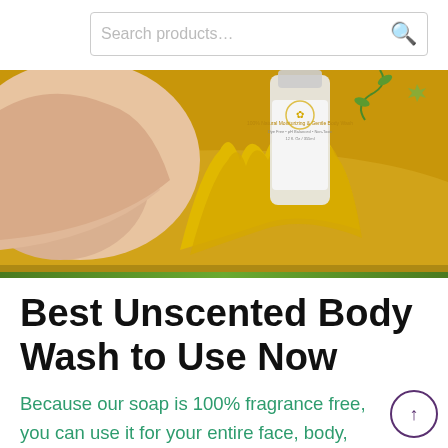Search products...
[Figure (photo): Hands holding a gold decorative body wash bottle splashing in golden liquid, with green herb sprigs in the background]
Best Unscented Body Wash to Use Now
Because our soap is 100% fragrance free, you can use it for your entire face, body, and even as an unscented shampoo.